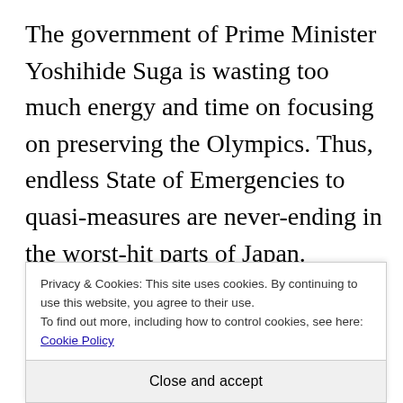The government of Prime Minister Yoshihide Suga is wasting too much energy and time on focusing on preserving the Olympics. Thus, endless State of Emergencies to quasi-measures are never-ending in the worst-hit parts of Japan. Therefore, the feeling is that the government – and the Tokyo Governor Yuriko Koike – are focused on preserving the Olympics rather than [partial line cut off]
Privacy & Cookies: This site uses cookies. By continuing to use this website, you agree to their use.
To find out more, including how to control cookies, see here: Cookie Policy
Close and accept